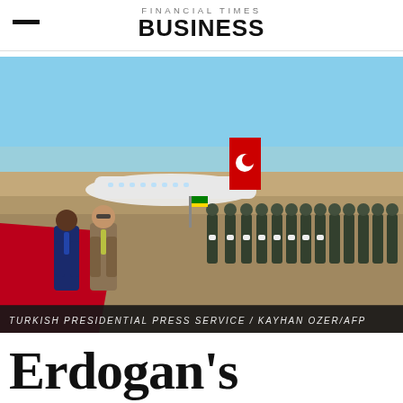FINANCIAL TIMES BUSINESS
[Figure (photo): Turkish President Erdogan walks on a red carpet at an airport, accompanied by officials, with a guard of honor lined up and a Turkish Airlines plane visible in the background. Outdoor ceremony on tarmac.]
TURKISH PRESIDENTIAL PRESS SERVICE / KAYHAN OZER/AFP
Erdogan's